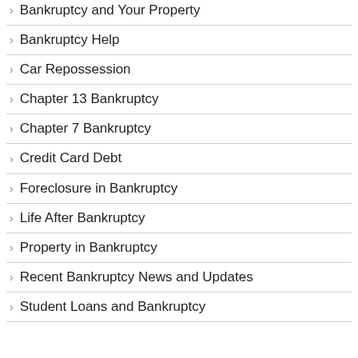Bankruptcy and Your Property
Bankruptcy Help
Car Repossession
Chapter 13 Bankruptcy
Chapter 7 Bankruptcy
Credit Card Debt
Foreclosure in Bankruptcy
Life After Bankruptcy
Property in Bankruptcy
Recent Bankruptcy News and Updates
Student Loans and Bankruptcy